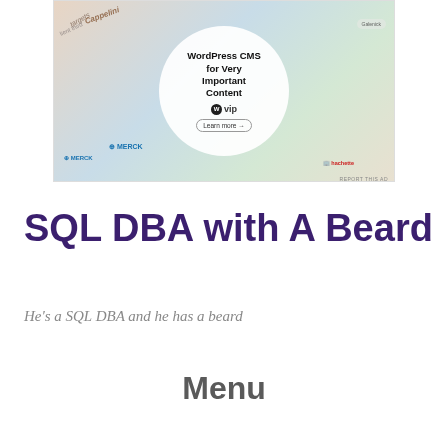[Figure (screenshot): WordPress VIP advertisement banner showing 'WordPress CMS for Very Important Content' with WP VIP logo and Learn more button, surrounded by brand logos including Merck and Hachette on a colorful background]
REPORT THIS AD
SQL DBA with A Beard
He's a SQL DBA and he has a beard
Menu